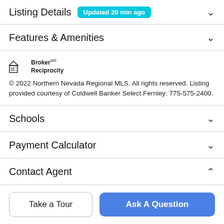Listing Details Updated 20 min ago
Features & Amenities
[Figure (logo): Broker Reciprocity logo with house icon]
© 2022 Northern Nevada Regional MLS. All rights reserved. Listing provided courtesy of Coldwell Banker Select Fernley: 775-575-2400.
Schools
Payment Calculator
Contact Agent
Take a Tour
Ask A Question